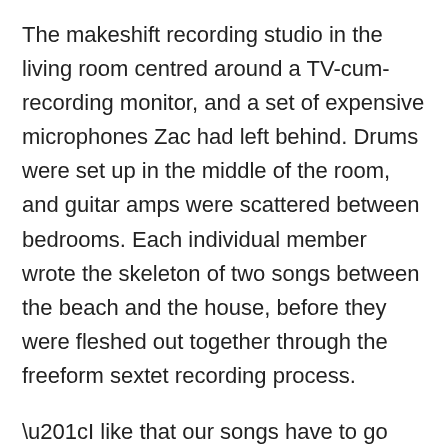The makeshift recording studio in the living room centred around a TV-cum-recording monitor, and a set of expensive microphones Zac had left behind. Drums were set up in the middle of the room, and guitar amps were scattered between bedrooms. Each individual member wrote the skeleton of two songs between the beach and the house, before they were fleshed out together through the freeform sextet recording process.

“I like that our songs have to go through six different heads before they exist. There’s no one vision,” Rogers says. “I don’t want to listen to myself, you know. I want to listen to everybody else in